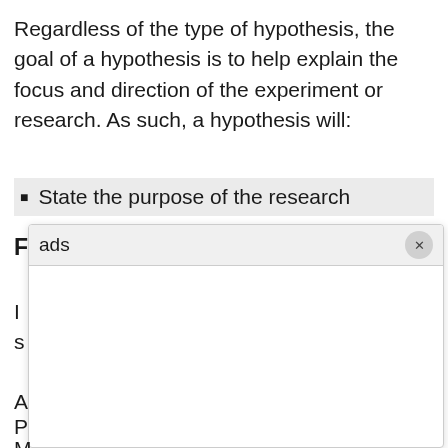Regardless of the type of hypothesis, the goal of a hypothesis is to help explain the focus and direction of the experiment or research. As such, a hypothesis will:
State the purpose of the research
[Figure (screenshot): A popup/overlay box with 'ads' text and a close (×) button, partially covering the rest of the page content. The popup shows an advertisement overlay with a circular close button in the top-right corner.]
F
I
s
A
P
M